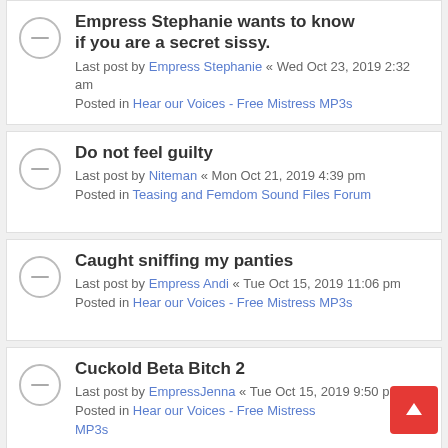Empress Stephanie wants to know if you are a secret sissy. Last post by Empress Stephanie « Wed Oct 23, 2019 2:32 am Posted in Hear our Voices - Free Mistress MP3s
Do not feel guilty Last post by Niteman « Mon Oct 21, 2019 4:39 pm Posted in Teasing and Femdom Sound Files Forum
Caught sniffing my panties Last post by Empress Andi « Tue Oct 15, 2019 11:06 pm Posted in Hear our Voices - Free Mistress MP3s
Cuckold Beta Bitch 2 Last post by EmpressJenna « Tue Oct 15, 2019 9:50 pm Posted in Hear our Voices - Free Mistress MP3s